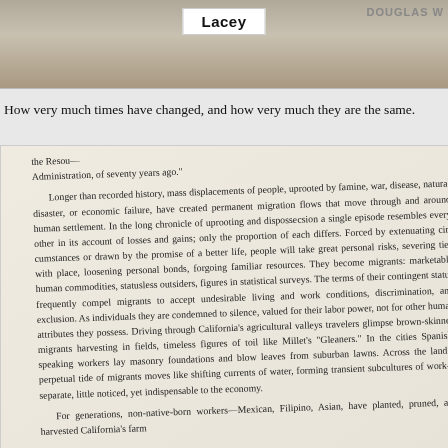[Figure (photo): Top portion of a photograph showing a name label reading 'Lacey' and partial text 'DOUGLAS W' in the upper right corner]
How very much times have changed, and how very much they are the same.
[Figure (photo): Photograph of an open book page showing text about migration, migrants, and California's agricultural workers. Text begins with 'the Resou... Administration, of seventy years ago.' and continues through a passage about mass displacements of people, migrants, and non-native-born workers in California.]